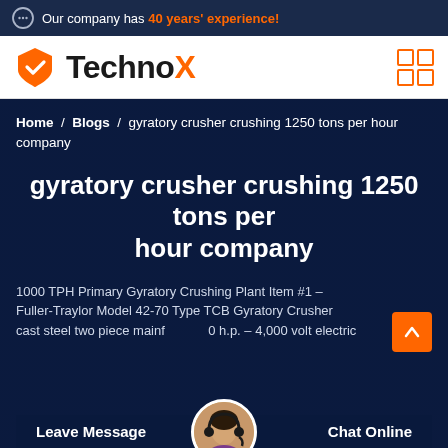Our company has 40 years' experience!
[Figure (logo): TechnoX logo with orange shield/checkmark icon and grid icon on right]
Home / Blogs / gyratory crusher crushing 1250 tons per hour company
gyratory crusher crushing 1250 tons per hour company
1000 TPH Primary Gyratory Crushing Plant Item #1 – Fuller-Traylor Model 42-70 Type TCB Gyratory Crusher cast steel two piece mainf... 0 h.p. – 4,000 volt electric ... aft dr... aulic sup...
Leave Message   Chat Online